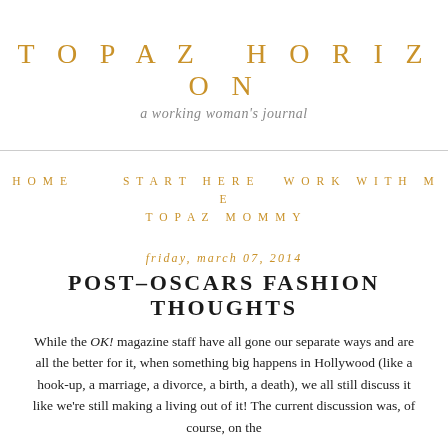TOPAZ HORIZON
a working woman's journal
HOME   START HERE   WORK WITH ME   TOPAZ MOMMY
friday, march 07, 2014
POST–OSCARS FASHION THOUGHTS
While the OK! magazine staff have all gone our separate ways and are all the better for it, when something big happens in Hollywood (like a hook-up, a marriage, a divorce, a birth, a death), we all still discuss it like we're still making a living out of it! The current discussion was, of course, on the